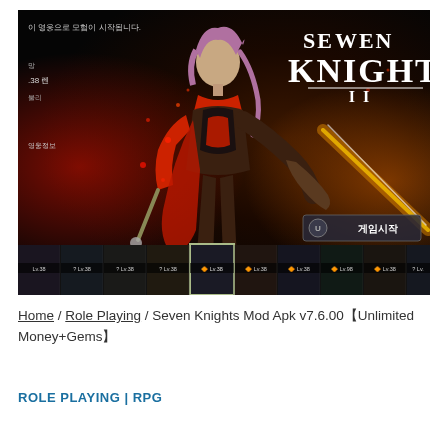[Figure (screenshot): Seven Knights II mobile game screenshot showing a female warrior character with pink hair in red armor, holding a weapon. The Seven Knights II logo is visible in the top right. Korean UI text is visible on the left side. A row of character thumbnails with Lv.38 labels is shown at the bottom of the screenshot.]
Home / Role Playing / Seven Knights Mod Apk v7.6.00【Unlimited Money+Gems】
ROLE PLAYING | RPG